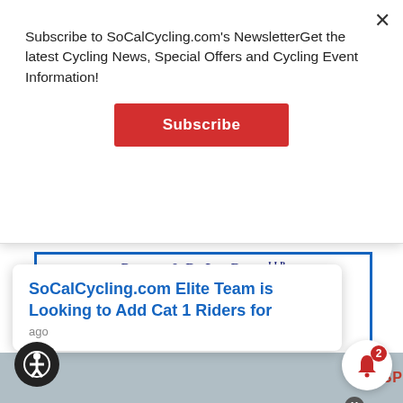Subscribe to SoCalCycling.com's NewsletterGet the latest Cycling News, Special Offers and Cycling Event Information!
[Figure (screenshot): Red Subscribe button]
[Figure (infographic): Pocrass & De Los Reyes LLP Attorneys advertisement with orange icons of pedestrian, scooter rider, and cyclist, pocrass.com URL, FREE CONSULTATION NO MONEY UPFRONT, phone numbers 310.550.9050 and 661.567.0711, and Best Lawyers Best Law Firms US News badge]
SoCalCycling.com Elite Team is Looking to Add Cat 1 Riders for
ago
[Figure (logo): 12SP logo in red and white at bottom right]